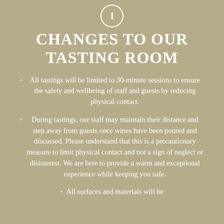[Figure (other): Circle with number 1 inside, decorative header element]
CHANGES TO OUR TASTING ROOM
All tastings will be limited to 30-minute sessions to ensure the safety and wellbeing of staff and guests by reducing physical contact.
During tastings, our staff may maintain their distance and step away from guests once wines have been poured and discussed. Please understand that this is a precautionary measure to limit physical contact and not a sign of neglect or disinterest. We are here to provide a warm and exceptional experience while keeping you safe.
All surfaces and materials will be